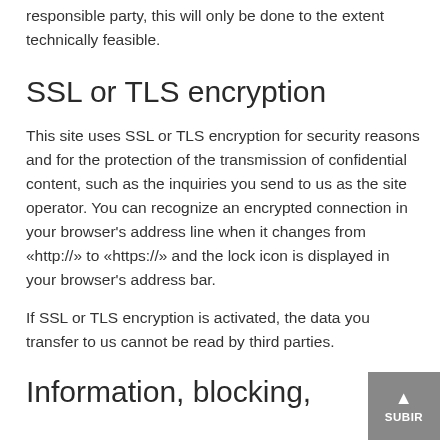responsible party, this will only be done to the extent technically feasible.
SSL or TLS encryption
This site uses SSL or TLS encryption for security reasons and for the protection of the transmission of confidential content, such as the inquiries you send to us as the site operator. You can recognize an encrypted connection in your browser’s address line when it changes from «http://» to «https://» and the lock icon is displayed in your browser’s address bar.
If SSL or TLS encryption is activated, the data you transfer to us cannot be read by third parties.
Information, blocking,